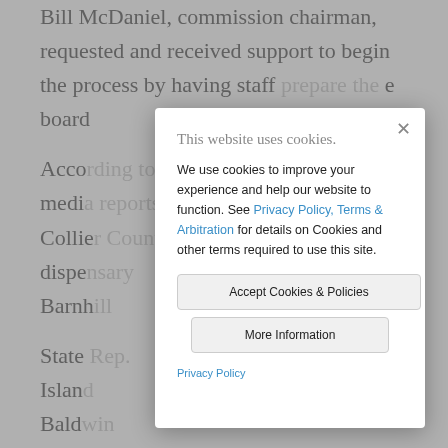Bill McDaniel, commission chairman, requested and received support to begin the process by having staff … e board … According … media … Collie … dispe … Barnh … State … Marco Island … 95 Bald … includ … In 20 … overwhelmingly approved an amendment to Florida's
[Figure (screenshot): Cookie consent modal dialog overlaying a webpage. Title: 'This website uses cookies.' Body text: 'We use cookies to improve your experience and help our website to function. See Privacy Policy, Terms & Arbitration for details on Cookies and other terms required to use this site.' Buttons: 'Accept Cookies & Policies' and 'More Information'. Link: 'Privacy Policy'. Close button (×) in top right corner.]